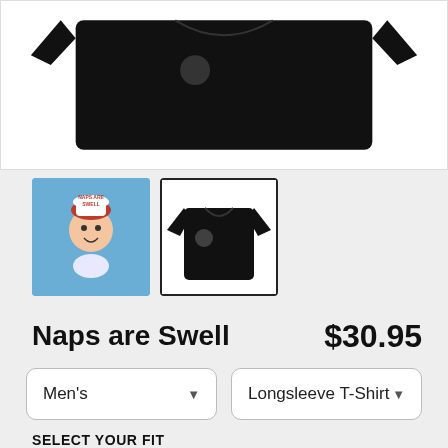[Figure (photo): Main product photo of a black longsleeve t-shirt displayed front, back, and side views on a white background]
[Figure (photo): Thumbnail 1: Blue background with cute cartoon character logo for Naps are Swell]
[Figure (photo): Thumbnail 2: Selected thumbnail showing black longsleeve t-shirt with small logo on chest, outlined with black border]
Naps are Swell
$30.95
Men's
Longsleeve T-Shirt
SELECT YOUR FIT
$30.95
Regular